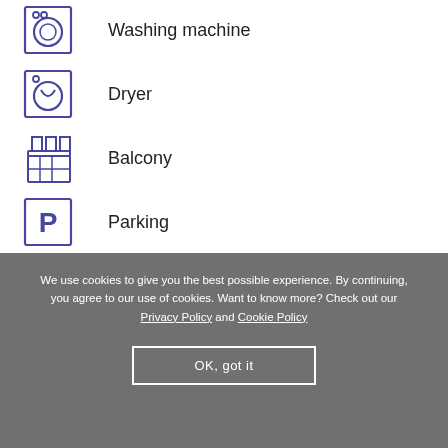Washing machine
Dryer
Balcony
Parking
Garden
Air conditioning
Car optional
No smoking
We use cookies to give you the best possible experience. By continuing, you agree to our use of cookies. Want to know more? Check out our Privacy Policy and Cookie Policy
OK, got it